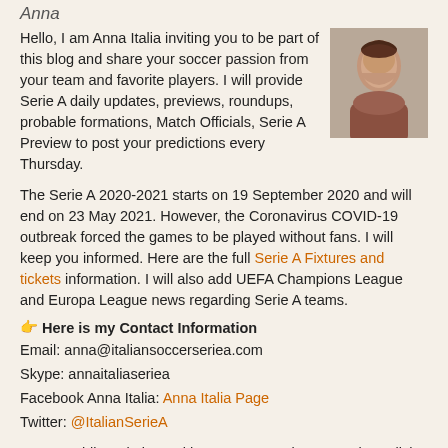Anna
Hello, I am Anna Italia inviting you to be part of this blog and share your soccer passion from your team and favorite players. I will provide Serie A daily updates, previews, roundups, probable formations, Match Officials, Serie A Preview to post your predictions every Thursday.
[Figure (photo): Profile photo of Anna Italia, a woman with dark hair pulled back, wearing a dark top, photographed against a light background.]
The Serie A 2020-2021 starts on 19 September 2020 and will end on 23 May 2021. However, the Coronavirus COVID-19 outbreak forced the games to be played without fans. I will keep you informed. Here are the full Serie A Fixtures and tickets information. I will also add UEFA Champions League and Europa League news regarding Serie A teams.
👉 Here is my Contact Information
Email: anna@italiansoccerseriea.com
Skype: annaitaliaseriea
Facebook Anna Italia: Anna Italia Page
Twitter: @ItalianSerieA
I am a Public Relations with a soccer passion. I speak English, Italian, Spanish, and French. I breathe Italian football, it's my passion! Oh